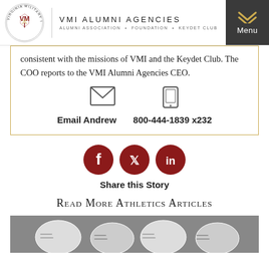VMI ALUMNI AGENCIES
ALUMNI ASSOCIATION · FOUNDATION · KEYDET CLUB
consistent with the missions of VMI and the Keydet Club. The COO reports to the VMI Alumni Agencies CEO.
Email Andrew   800-444-1839 x232
[Figure (infographic): Social media share icons: Facebook, Twitter, LinkedIn (dark red circles)]
Share this Story
Read More Athletics Articles
[Figure (photo): Photo of football helmets with VMI colors (black and white), partially visible at bottom of page]